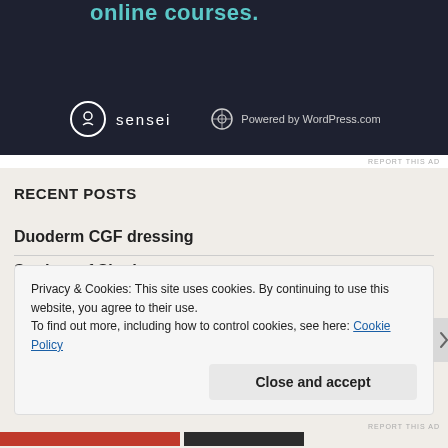[Figure (screenshot): Dark navy advertisement banner for Sensei and WordPress.com showing 'online courses.' text in teal and logos at the bottom]
RECENT POSTS
Duoderm CGF dressing
Student of Shadows
[Figure (screenshot): Cookie consent overlay notification with text about cookies and a Close and accept button]